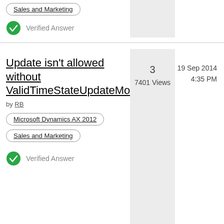Sales and Marketing
Verified Answer
Update isn't allowed without ValidTimeStateUpdateMode
by RB
3
7401 Views
19 Sep 2014
4:35 PM
Microsoft Dynamics AX 2012
Sales and Marketing
Verified Answer